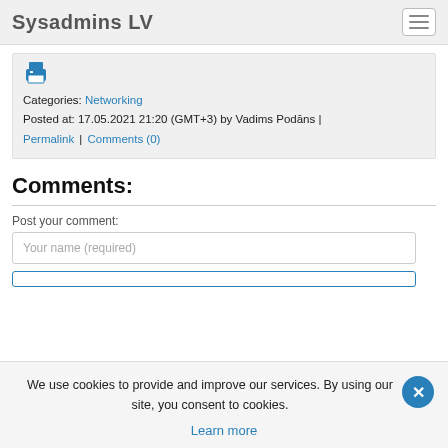Sysadmins LV
Categories: Networking
Posted at: 17.05.2021 21:20 (GMT+3) by Vadims Podāns |
Permalink | Comments (0)
Comments:
Post your comment:
Your name (required)
We use cookies to provide and improve our services. By using our site, you consent to cookies.
Learn more